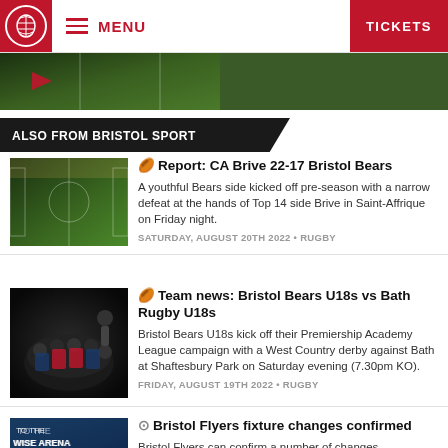MENU | TICKETS
[Figure (photo): Aerial view of a green football/soccer pitch, partially visible at top]
ALSO FROM BRISTOL SPORT
Report: CA Brive 22-17 Bristol Bears — A youthful Bears side kicked off pre-season with a narrow defeat at the hands of Top 14 side Brive in Saint-Affrique on Friday night. SATURDAY, AUGUST 20TH 2022 • RUGBY
Team news: Bristol Bears U18s vs Bath Rugby U18s — Bristol Bears U18s kick off their Premiership Academy League campaign with a West Country derby against Bath at Shaftesbury Park on Saturday evening (7.30pm KO). FRIDAY, AUGUST 19TH 2022 • RUGBY
Bristol Flyers fixture changes confirmed — Bristol Flyers can confirm a number of changes